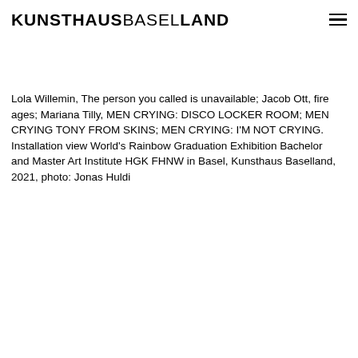KUNSTHAUSBASELLAND
Lola Willemin, The person you called is unavailable; Jacob Ott, fire ages; Mariana Tilly, MEN CRYING: DISCO LOCKER ROOM; MEN CRYING TONY FROM SKINS; MEN CRYING: I'M NOT CRYING. Installation view World's Rainbow Graduation Exhibition Bachelor and Master Art Institute HGK FHNW in Basel, Kunsthaus Baselland, 2021, photo: Jonas Huldi